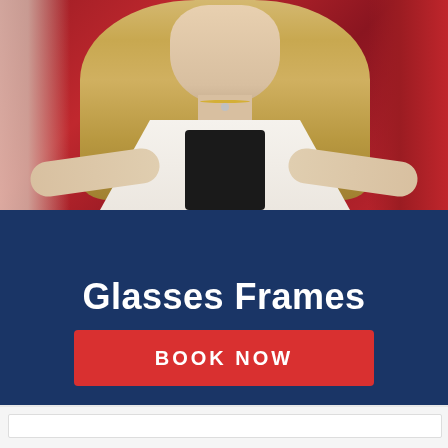[Figure (photo): A blonde woman wearing a white sleeveless top leaning forward, with a red background behind her. The photo is cropped to show from the shoulders up.]
Glasses Frames
BOOK NOW